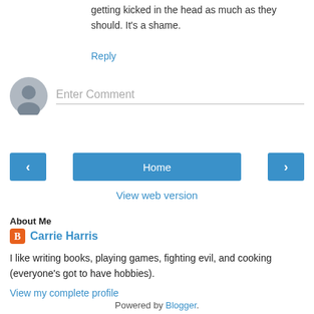getting kicked in the head as much as they should. It's a shame.
Reply
[Figure (other): User avatar placeholder circle icon for comment entry]
Enter Comment
‹
Home
›
View web version
About Me
Carrie Harris
I like writing books, playing games, fighting evil, and cooking (everyone's got to have hobbies).
View my complete profile
Powered by Blogger.